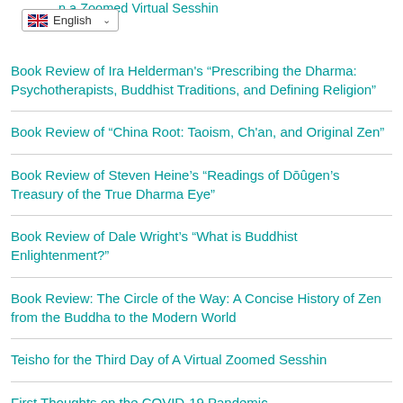...n a Zoomed Virtual Sesshin
[Figure (other): Language selector dropdown showing UK flag and 'English' with a down arrow chevron]
Book Review of Ira Helderman's “Prescribing the Dharma: Psychotherapists, Buddhist Traditions, and Defining Religion”
Book Review of “China Root: Taoism, Ch'an, and Original Zen”
Book Review of Steven Heine’s “Readings of Dōûgen’s Treasury of the True Dharma Eye”
Book Review of Dale Wright’s “What is Buddhist Enlightenment?”
Book Review: The Circle of the Way: A Concise History of Zen from the Buddha to the Modern World
Teisho for the Third Day of A Virtual Zoomed Sesshin
First Thoughts on the COVID-19 Pandemic